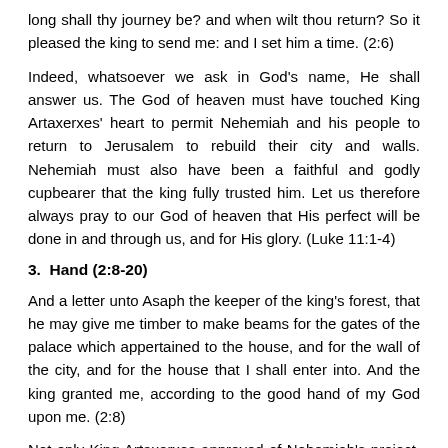long shall thy journey be? and when wilt thou return? So it pleased the king to send me: and I set him a time. (2:6)
Indeed, whatsoever we ask in God's name, He shall answer us. The God of heaven must have touched King Artaxerxes' heart to permit Nehemiah and his people to return to Jerusalem to rebuild their city and walls. Nehemiah must also have been a faithful and godly cupbearer that the king fully trusted him. Let us therefore always pray to our God of heaven that His perfect will be done in and through us, and for His glory. (Luke 11:1-4)
3.  Hand (2:8-20)
And a letter unto Asaph the keeper of the king's forest, that he may give me timber to make beams for the gates of the palace which appertained to the house, and for the wall of the city, and for the house that I shall enter into. And the king granted me, according to the good hand of my God upon me. (2:8)
Not only King Artaxerxes approved of Nehemiah's project, he even commanded his leaders to supply him with all the timber that he needed for the project. Indeed, let us humble ourselves under the good and mighty hand of God, and He shall exalt us in His time. Let us also cast all our cares upon God, because He truly cares for